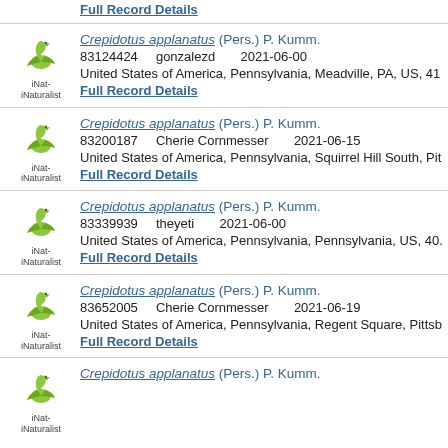Full Record Details
Crepidotus applanatus (Pers.) P. Kumm. | 83124424 gonzalezd 2021-06-00 | United States of America, Pennsylvania, Meadville, PA, US, 41... | Full Record Details
Crepidotus applanatus (Pers.) P. Kumm. | 83200187 Cherie Cornmesser 2021-06-15 | United States of America, Pennsylvania, Squirrel Hill South, Pit... | Full Record Details
Crepidotus applanatus (Pers.) P. Kumm. | 83339939 theyeti 2021-06-00 | United States of America, Pennsylvania, Pennsylvania, US, 40... | Full Record Details
Crepidotus applanatus (Pers.) P. Kumm. | 83652005 Cherie Cornmesser 2021-06-19 | United States of America, Pennsylvania, Regent Square, Pittsb... | Full Record Details
Crepidotus applanatus (Pers.) P. Kumm.